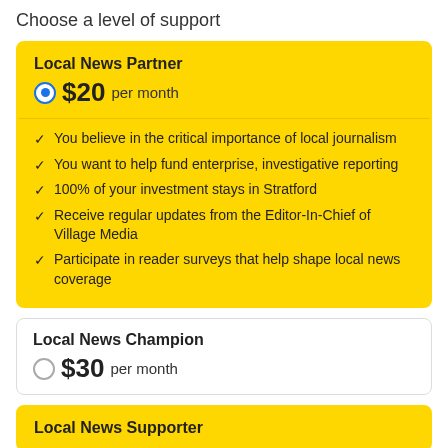Choose a level of support
Local News Partner
$20 per month (selected)
You believe in the critical importance of local journalism
You want to help fund enterprise, investigative reporting
100% of your investment stays in Stratford
Receive regular updates from the Editor-In-Chief of Village Media
Participate in reader surveys that help shape local news coverage
Local News Champion
$30 per month
Local News Supporter